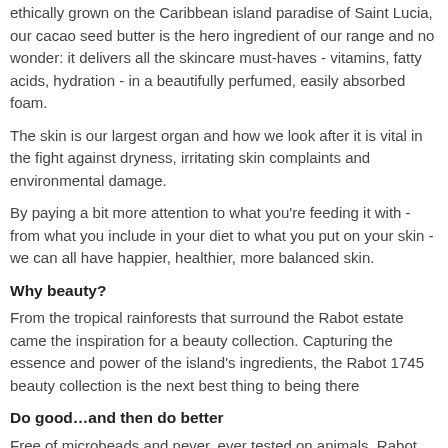ethically grown on the Caribbean island paradise of Saint Lucia, our cacao seed butter is the hero ingredient of our range and no wonder: it delivers all the skincare must-haves - vitamins, fatty acids, hydration - in a beautifully perfumed, easily absorbed foam.
The skin is our largest organ and how we look after it is vital in the fight against dryness, irritating skin complaints and environmental damage.
By paying a bit more attention to what you're feeding it with - from what you include in your diet to what you put on your skin - we can all have happier, healthier, more balanced skin.
Why beauty?
From the tropical rainforests that surround the Rabot estate came the inspiration for a beauty collection. Capturing the essence and power of the island's ingredients, the Rabot 1745 beauty collection is the next best thing to being there
Do good…and then do better
Free of microbeads and never, ever tested on animals, Rabot 1745 stays true to Hotel Chocolat's core values: authenticity, originality and ethics. We're serious about sustainability too: almost all of Rabot 1745's beauty packaging is compostable, reusable or recyclable already – and by 2021, 100% will be.
Why Join our Programme?